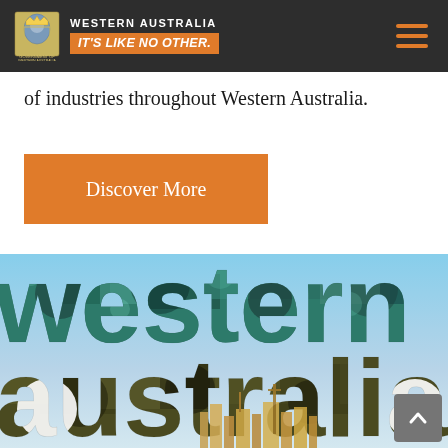WESTERN AUSTRALIA IT'S LIKE NO OTHER. — Government of Western Australia
of industries throughout Western Australia.
Discover More
[Figure (logo): Western Australia tourism brand image with large stylized text 'western australia' filled with landscape/mineral textures, and a city skyline visible at the bottom]
Back to top arrow button